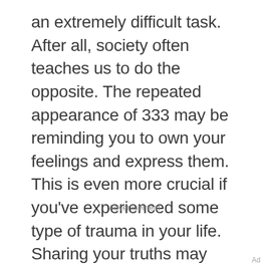an extremely difficult task. After all, society often teaches us to do the opposite. The repeated appearance of 333 may be reminding you to own your feelings and express them. This is even more crucial if you've experienced some type of trauma in your life. Sharing your truths may impact others in a positive way.
Advertisement
Ad